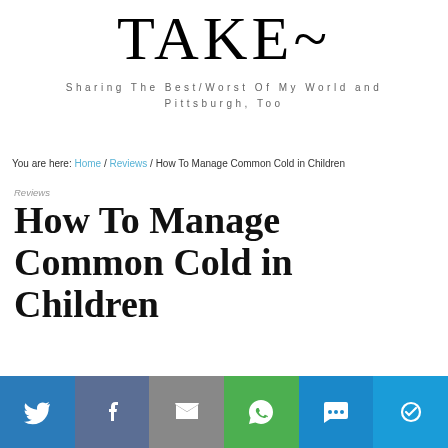TAKE~
Sharing The Best/Worst Of My World and Pittsburgh, Too
You are here: Home / Reviews / How To Manage Common Cold in Children
Reviews
How To Manage Common Cold in Children